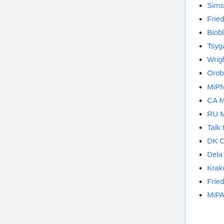Sims Carrie A (← links)
Friederich-Persson Malou (← links)
Bioblasts (← links)
Tsygankova P (← links)
Wright L (← links)
Oroboros (← links)
MiPNet15.06 MiP2010 (← links)
CA Montreal Bergdahl A (← links)
RU Moscow Itkis YS (← links)
Talk:MiPNet03.03 Internat-Oxygraph-Workshops (← links)
DK Copenhagen Dela F (← links)
Dela Flemming (← links)
Krako Jakovljevic Nina (← links)
Friedrich 2010 Abstract MiP2010 (← links)
MiPArt11 MiP2010 (← links)